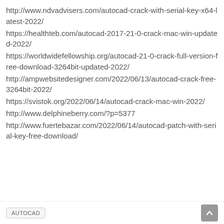http://www.ndvadvisers.com/autocad-crack-with-serial-key-x64-latest-2022/
https://healthteb.com/autocad-2017-21-0-crack-mac-win-updated-2022/
https://worldwidefellowship.org/autocad-21-0-crack-full-version-free-download-3264bit-updated-2022/
http://ampwebsitedesigner.com/2022/06/13/autocad-crack-free-3264bit-2022/
https://svistok.org/2022/06/14/autocad-crack-mac-win-2022/
http://www.delphineberry.com/?p=5377
http://www.fuertebazar.com/2022/06/14/autocad-patch-with-serial-key-free-download/
AUTOCAD